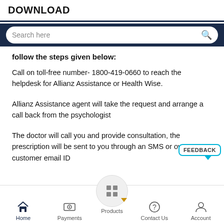DOWNLOAD
follow the steps given below:
Call on toll-free number- 1800-419-0660 to reach the helpdesk for Allianz Assistance or Health Wise.
Allianz Assistance agent will take the request and arrange a call back from the psychologist
The doctor will call you and provide consultation, the prescription will be sent to you through an SMS or over customer email ID
Home | Payments | Products | Contact Us | Account